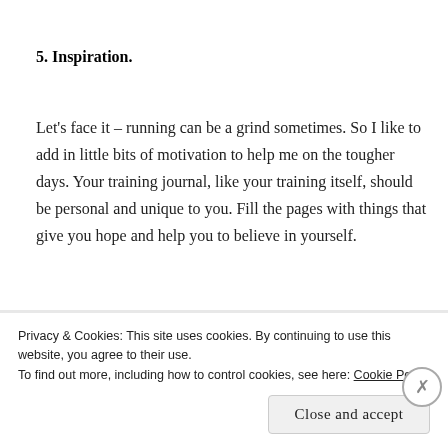5. Inspiration.
Let's face it – running can be a grind sometimes. So I like to add in little bits of motivation to help me on the tougher days. Your training journal, like your training itself, should be personal and unique to you. Fill the pages with things that give you hope and help you to believe in yourself.
And don't be afraid to record your doubts and fears,
Privacy & Cookies: This site uses cookies. By continuing to use this website, you agree to their use.
To find out more, including how to control cookies, see here: Cookie Policy
Close and accept